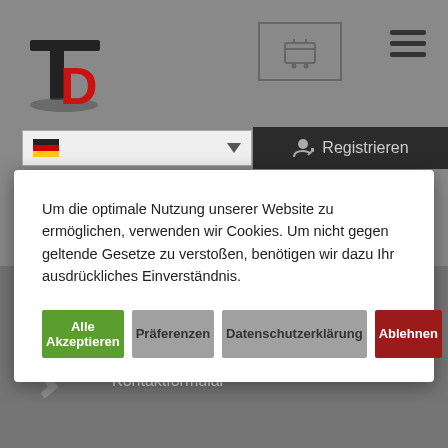[Figure (logo): TDs logo with bold T and stylized D with red accent]
[Figure (other): Shopping cart icon inside a rectangle border]
[Figure (other): Hamburger menu icon with three horizontal lines]
[Figure (other): Language selector dropdown with German flag]
[Figure (other): Dark Registrieren button with user icon]
Um die optimale Nutzung unserer Website zu ermöglichen, verwenden wir Cookies. Um nicht gegen geltende Gesetze zu verstoßen, benötigen wir dazu Ihr ausdrückliches Einverständnis.
Alle Akzeptieren
Präferenzen
Datenschutzerklärung
Ablehnen
[Figure (other): Email envelope icon]
Email
info@tds-rietberg.de
[Figure (other): Pencil/edit icon]
Kontakt
Kontaktformular